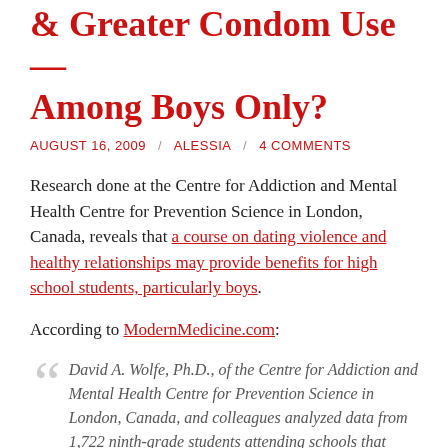& Greater Condom Use — Among Boys Only?
AUGUST 16, 2009  /  ALESSIA  /  4 COMMENTS
Research done at the Centre for Addiction and Mental Health Centre for Prevention Science in London, Canada, reveals that a course on dating violence and healthy relationships may provide benefits for high school students, particularly boys.
According to ModernMedicine.com:
David A. Wolfe, Ph.D., of the Centre for Addiction and Mental Health Centre for Prevention Science in London, Canada, and colleagues analyzed data from 1,722 ninth-grade students attending schools that